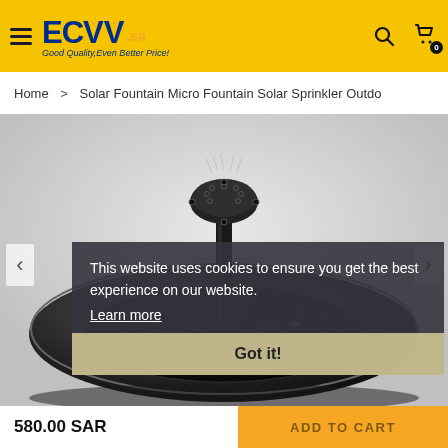ECVV .sa — Good Quality, Even Better Price!
Home > Solar Fountain Micro Fountain Solar Sprinkler Outdo
[Figure (photo): Solar fountain product photo: a round dark solar panel base with water droplets on it, and a vertical black stem topped with a circular sprinkler head, photographed against a light background]
This website uses cookies to ensure you get the best experience on our website. Learn more
Got it!
580.00 SAR
ADD TO CART